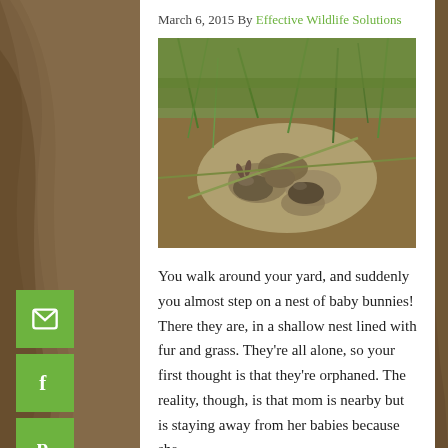March 6, 2015 By Effective Wildlife Solutions
[Figure (photo): Nest of baby bunnies in shallow nest lined with fur and grass]
You walk around your yard, and suddenly you almost step on a nest of baby bunnies! There they are, in a shallow nest lined with fur and grass. They're all alone, so your first thought is that they're orphaned. The reality, though, is that mom is nearby but is staying away from her babies because she